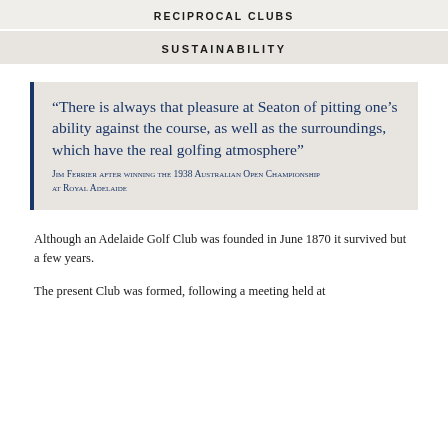RECIPROCAL CLUBS
SUSTAINABILITY
“There is always that pleasure at Seaton of pitting one’s ability against the course, as well as the surroundings, which have the real golfing atmosphere” Jim Ferrier after winning the 1938 Australian Open Championship at Royal Adelaide
Although an Adelaide Golf Club was founded in June 1870 it survived but a few years.
The present Club was formed, following a meeting held at